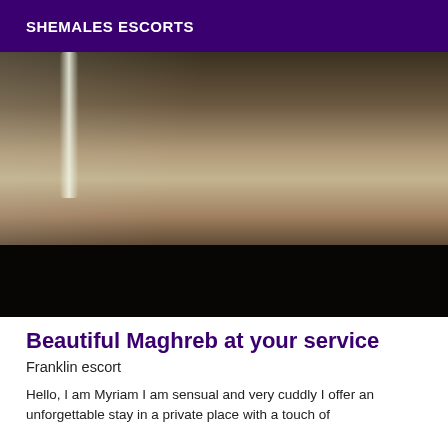SHEMALES ESCORTS
[Figure (photo): Mirror selfie photo in a bathroom/hotel room, partially obscured, with a bright light streak on the left side and a black band at the bottom.]
Beautiful Maghreb at your service
Franklin escort
Hello, I am Myriam I am sensual and very cuddly I offer an unforgettable stay in a private place with a touch of